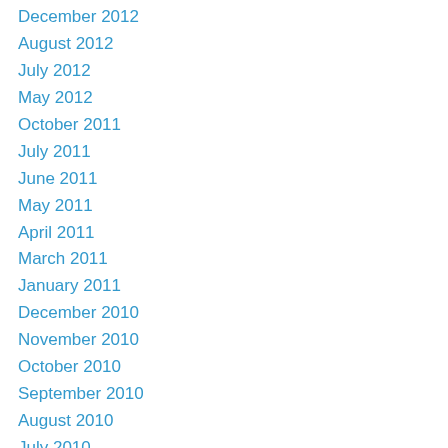December 2012
August 2012
July 2012
May 2012
October 2011
July 2011
June 2011
May 2011
April 2011
March 2011
January 2011
December 2010
November 2010
October 2010
September 2010
August 2010
July 2010
June 2010
May 2010
April 2010